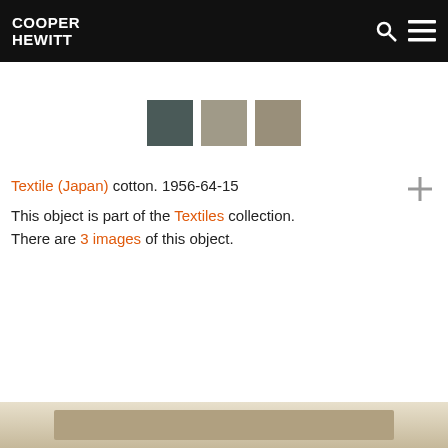COOPER HEWITT
[Figure (infographic): Three color swatches: dark slate gray, light khaki/tan, and medium khaki/gray-green]
Textile (Japan) cotton. 1956-64-15
This object is part of the Textiles collection. There are 3 images of this object.
[Figure (photo): Bottom portion of a textile/document image partially visible at the bottom of the page]